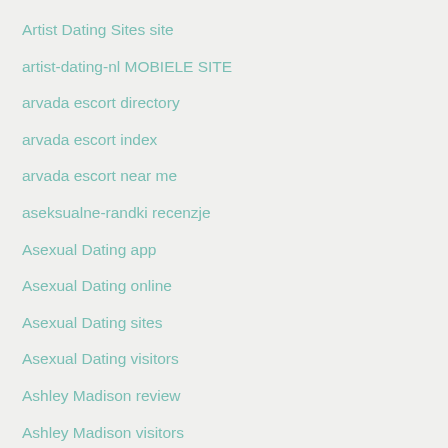Artist Dating Sites site
artist-dating-nl MOBIELE SITE
arvada escort directory
arvada escort index
arvada escort near me
aseksualne-randki recenzje
Asexual Dating app
Asexual Dating online
Asexual Dating sites
Asexual Dating visitors
Ashley Madison review
Ashley Madison visitors
asiame avis